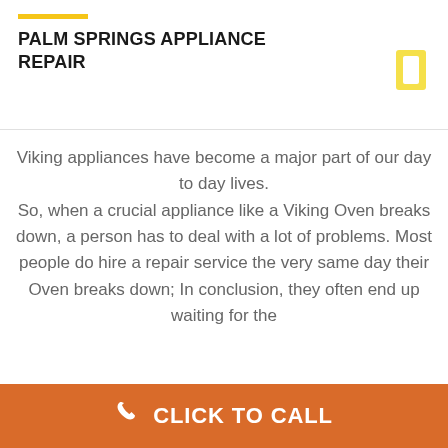PALM SPRINGS APPLIANCE REPAIR
Viking appliances have become a major part of our day to day lives. So, when a crucial appliance like a Viking Oven breaks down, a person has to deal with a lot of problems. Most people do hire a repair service the very same day their Oven breaks down; In conclusion, they often end up waiting for the
CLICK TO CALL